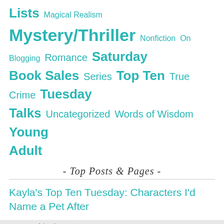Lists  Magical Realism  Mystery/Thriller  Nonfiction  On Blogging  Romance  Saturday Book Sales  Series  Top Ten  True Crime  Tuesday Talks  Uncategorized  Words of Wisdom  Young Adult
- Top Posts & Pages -
Kayla's Top Ten Tuesday: Characters I'd Name a Pet After
Advertisements
[Figure (screenshot): DuckDuckGo advertisement banner: orange background with white text 'Search, browse, and email with more privacy. All in One Free App' and DuckDuckGo logo with phone mockup.]